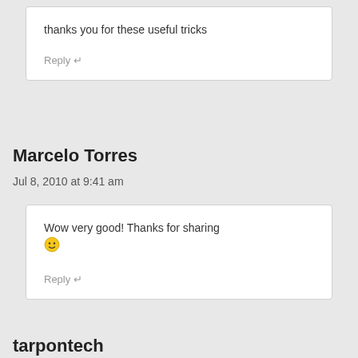thanks you for these useful tricks
Reply ↵
Marcelo Torres
Jul 8, 2010 at 9:41 am
Wow very good! Thanks for sharing 🙂
Reply ↵
tarpontech